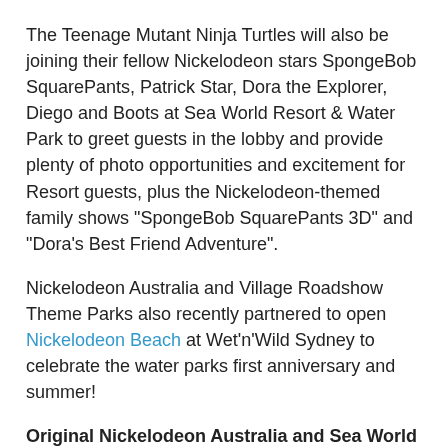The Teenage Mutant Ninja Turtles will also be joining their fellow Nickelodeon stars SpongeBob SquarePants, Patrick Star, Dora the Explorer, Diego and Boots at Sea World Resort & Water Park to greet guests in the lobby and provide plenty of photo opportunities and excitement for Resort guests, plus the Nickelodeon-themed family shows "SpongeBob SquarePants 3D" and "Dora's Best Friend Adventure".
Nickelodeon Australia and Village Roadshow Theme Parks also recently partnered to open Nickelodeon Beach at Wet'n'Wild Sydney to celebrate the water parks first anniversary and summer!
Original Nickelodeon Australia and Sea World Gold Coast Australia Press Release:
SEA WORLD ANNOUNCES BIGGEST SUMMER EVER!
Sea World has announced its biggest ever December with the launch of two new attractions including an amazing